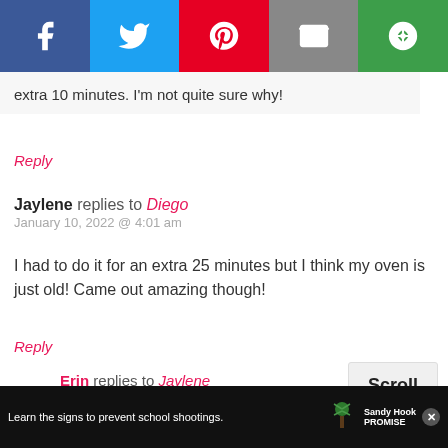[Figure (other): Social media share bar with Facebook, Twitter, Pinterest, Email, and another sharing icon buttons]
extra 10 minutes. I'm not quite sure why!
Reply
Jaylene replies to Diego
January 10, 2022 @ 4:01 am
I had to do it for an extra 25 minutes but I think my oven is just old! Came out amazing though!
Reply
Erin replies to Jaylene
January 19, 2022 @ 12:48 pm
Any oven's temp. could be off!...
[Figure (other): Scroll to top button]
[Figure (other): Sandy Hook Promise advertisement bar at bottom: Learn the signs to prevent school shootings.]